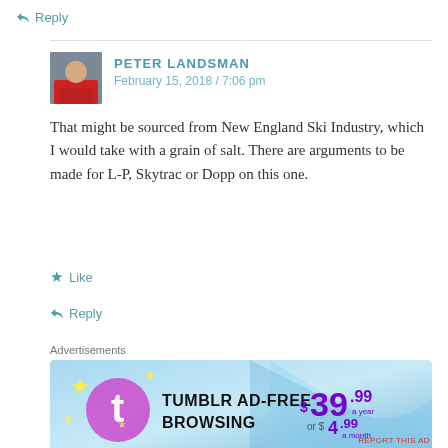↩ Reply
PETER LANDSMAN
February 15, 2018 / 7:06 pm
That might be sourced from New England Ski Industry, which I would take with a grain of salt. There are arguments to be made for L-P, Skytrac or Dopp on this one.
★ Like
↩ Reply
Advertisements
[Figure (other): Tumblr ad-free browsing advertisement banner with price $39.99 a year or $4.99 a month]